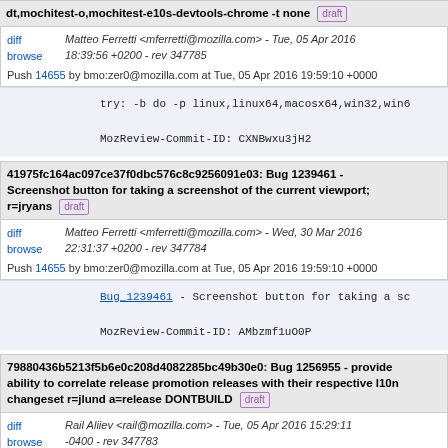dt,mochitest-o,mochitest-e10s-devtools-chrome -t none [draft]
diff
browse
Matteo Ferretti <mferretti@mozilla.com> - Tue, 05 Apr 2016 18:39:56 +0200 - rev 347785
Push 14655 by bmo:zer0@mozilla.com at Tue, 05 Apr 2016 19:59:10 +0000
try: -b do -p linux,linux64,macosx64,win32,win6

MozReview-Commit-ID: CXNBwxu3jH2
41975fc164ac097ce37f0dbc576c8c9256091e03: Bug 1239461 - Screenshot button for taking a screenshot of the current viewport; r=jryans [draft]
diff
browse
Matteo Ferretti <mferretti@mozilla.com> - Wed, 30 Mar 2016 22:31:37 +0200 - rev 347784
Push 14655 by bmo:zer0@mozilla.com at Tue, 05 Apr 2016 19:59:10 +0000
Bug_1239461 - Screenshot button for taking a sc

MozReview-Commit-ID: AMbzmf1uO0P
79880436b5213f5b6e0c208d4082285bc49b30e0: Bug 1256955 - provide ability to correlate release promotion releases with their respective l10n changeset r=jlund a=release DONTBUILD [draft]
diff
browse
Rail Aliiev <rail@mozilla.com> - Tue, 05 Apr 2016 15:29:11 -0400 - rev 347783
Push 14654 by bmo:rail@mozilla.com at Tue, 05 Apr 2016 19:30:33 +0000
Bug_1256955 - provide ability to correlate rele